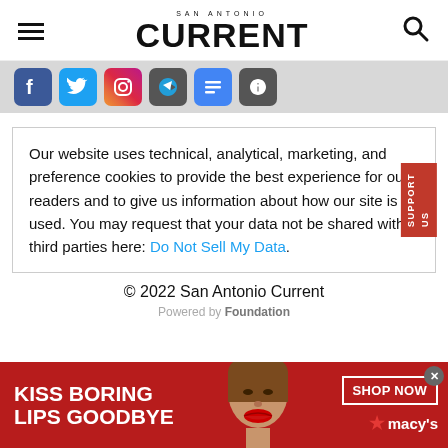SAN ANTONIO CURRENT
[Figure (other): Social media icon buttons row: Facebook, Twitter, Instagram, Telegram, Google News, Apple News]
Our website uses technical, analytical, marketing, and preference cookies to provide the best experience for our readers and to give us information about how our site is used. You may request that your data not be shared with third parties here: Do Not Sell My Data.
© 2022 San Antonio Current
Powered by Foundation
[Figure (other): Advertisement banner: KISS BORING LIPS GOODBYE — image of woman with red lips — SHOP NOW ★ macy's]